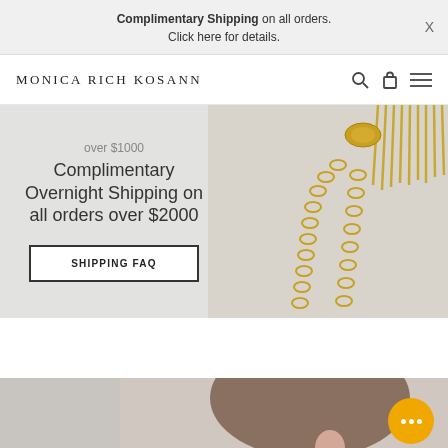Complimentary Shipping on all orders. Click here for details.
MONICA RICH KOSANN
[Figure (photo): Hero banner showing gold jewelry (necklace with tassel and chain) on a light gray background, with text overlay about shipping offers and a SHIPPING FAQ button]
over $1000
Complimentary Overnight Shipping on all orders over $2000
SHIPPING FAQ
[Figure (photo): Partial photo of a woman touching her ear/hair, wearing a delicate earring, on a light background]